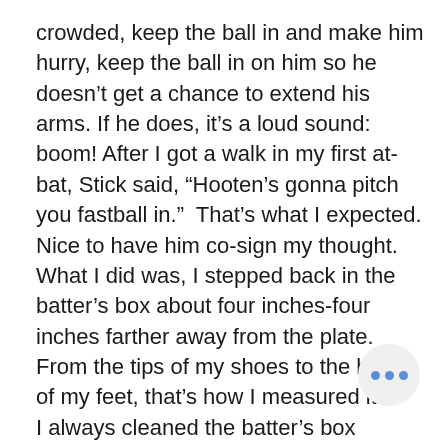crowded, keep the ball in and make him hurry, keep the ball in on him so he doesn't get a chance to extend his arms. If he does, it's a loud sound: boom! After I got a walk in my first at-bat, Stick said, “Hooten’s gonna pitch you fastball in.”  That’s what I expected. Nice to have him co-sign my thought. What I did was, I stepped back in the batter’s box about four inches-four inches farther away from the plate. From the tips of my shoes to the balls of my feet, that’s how I measured it. I always cleaned the batter’s box before I got in.  Did a little gardening.  I didn’t want to see another guy’s mark and think it was mine.  I always went in swept everything away with my feet and that gave me the chance to measure